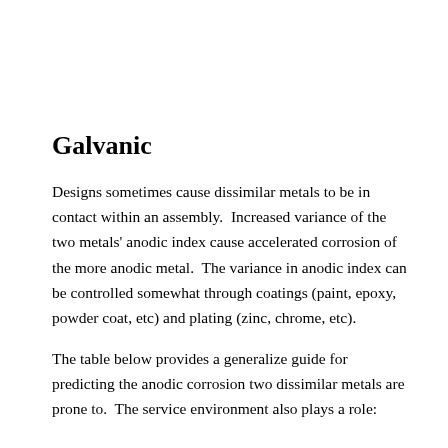Galvanic
Designs sometimes cause dissimilar metals to be in contact within an assembly.  Increased variance of the two metals' anodic index cause accelerated corrosion of the more anodic metal.  The variance in anodic index can be controlled somewhat through coatings (paint, epoxy, powder coat, etc) and plating (zinc, chrome, etc).
The table below provides a generalize guide for predicting the anodic corrosion two dissimilar metals are prone to.  The service environment also plays a role: